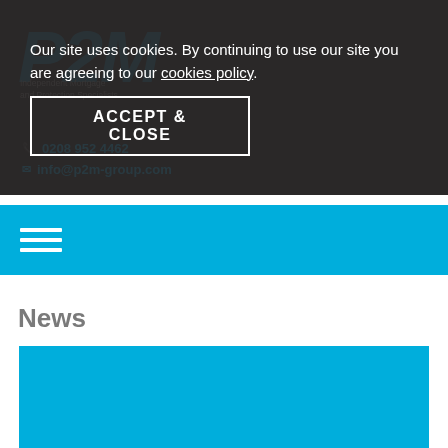[Figure (logo): P2M Independent Mortgage logo in blue/teal italic bold text on dark background]
Our site uses cookies. By continuing to use our site you are agreeing to our cookies policy.
ACCEPT & CLOSE
0208 952 4462
info@p2m-group.com
[Figure (other): Blue navigation bar with hamburger menu icon (three white horizontal lines)]
News
[Figure (photo): Blue rectangle image placeholder]